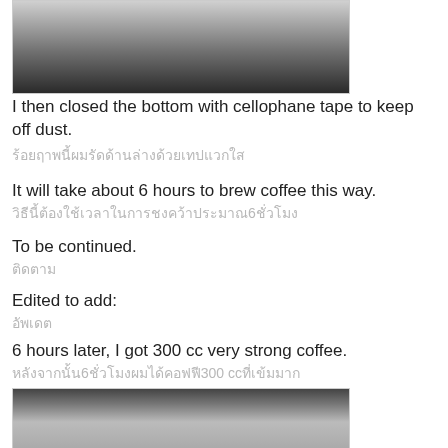[Figure (photo): Photo of a jar/container with white material inside, sealed at the bottom, viewed from above on a dark surface.]
I then closed the bottom with cellophane tape to keep off dust.
Thai translation of above sentence (greyed out Thai characters)
It will take about 6 hours to brew coffee this way.
Thai translation of above sentence (greyed out Thai characters)
To be continued.
Thai characters (greyed)
Edited to add:
Thai characters (greyed)
6 hours later, I got 300 cc very strong coffee.
Thai translation with 300 cc embedded (greyed out Thai characters)
[Figure (photo): Photo of a glass measuring beaker containing dark coffee liquid, labeled with 300 and 400 ml markings, placed on a grey surface.]